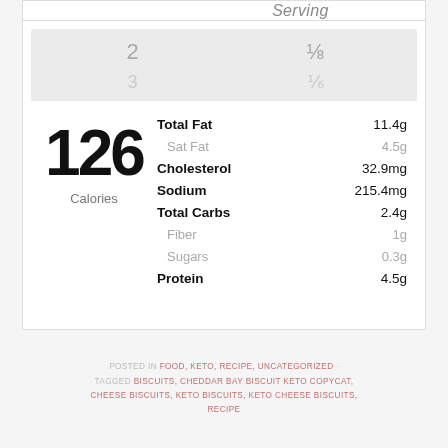per Serving
| Servings |
| --- |
| 2 | ⅛ |
| 3 | ⅙ |
| Nutrient | Value |
| --- | --- |
| Total Fat | 11.4g |
| Sat Fat | 4.5g |
| Cholesterol | 32.9mg |
| Sodium | 215.4mg |
| Total Carbs | 2.4g |
| Fiber | 1g |
| Sugars | 0.3g |
| Protein | 4.5g |
| Calories | 126 |
POSTED IN FOOD, KETO, RECIPE, UNCATEGORIZED · TAGGED BISCUITS, CHEDDAR BAY BISCUIT KETO COPYCAT, CHEESE BISCUITS, KETO BISCUITS, KETO CHEESE BISCUITS, RECIPE